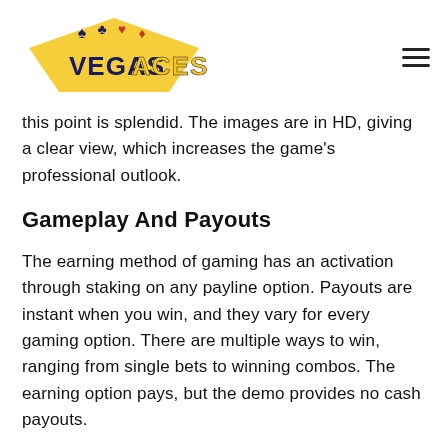[Figure (logo): Vegas Aces logo with card suit icons above the text]
this point is splendid. The images are in HD, giving a clear view, which increases the game's professional outlook.
Gameplay And Payouts
The earning method of gaming has an activation through staking on any payline option. Payouts are instant when you win, and they vary for every gaming option. There are multiple ways to win, ranging from single bets to winning combos. The earning option pays, but the demo provides no cash payouts.
The gameplay is incredible, and the demo requires no stake deposit. What is needed is a selection of your playing symbols. You can choose any Symbol in the reels and then select your paylines for the earning mode.